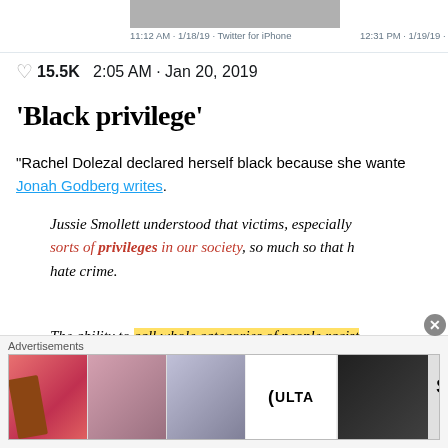11:12 AM · 1/18/19 · Twitter for iPhone    12:31 PM · 1/19/19 · Twitter for
♡ 15.5K  2:05 AM · Jan 20, 2019
'Black privilege'
“Rachel Dolezal declared herself black because she wanted the privileges... Jonah Godberg writes.
Jussie Smollett understood that victims, especially [minority victims], get certain sorts of privileges in our society, so much so that he invented a hate crime.
The ability to call whole categories of people racist... is a privilege. The power to police the language other... privilege... The assumption that transgender...
Advertisements
[Figure (other): Ulta Beauty advertisement banner showing makeup/cosmetic images with SHOP NOW call to action]